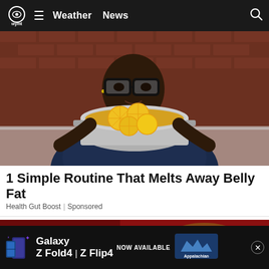wymt | Weather | News
[Figure (photo): Person with glasses holding a pot of lemon slices, kitchen background with brick wall]
1 Simple Routine That Melts Away Belly Fat
Health Gut Boost | Sponsored
[Figure (photo): Football on red/brown background, partially visible]
[Figure (infographic): Samsung Galaxy Z Fold4 | Z Flip4 advertisement banner — NOW AVAILABLE — Appalachian logo]